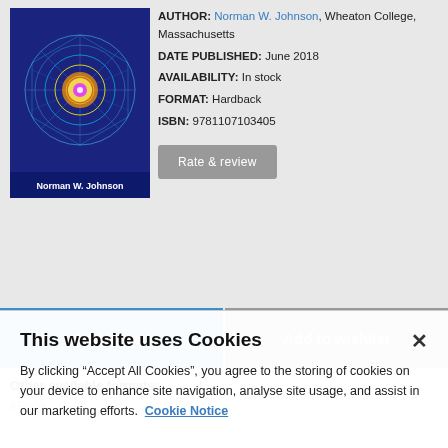[Figure (photo): Book cover for a mathematics/geometry textbook by Norman W. Johnson, featuring a colorful mandala/geometric pattern on a dark blue background with the author's name at the bottom.]
AUTHOR: Norman W. Johnson, Wheaton College, Massachusetts
DATE PUBLISHED: June 2018
AVAILABILITY: In stock
FORMAT: Hardback
ISBN: 9781107103405
Rate & review
Add to cart
Add to wishlist
Other available formats:
eBook
This website uses Cookies
By clicking “Accept All Cookies”, you agree to the storing of cookies on your device to enhance site navigation, analyse site usage, and assist in our marketing efforts.  Cookie Notice